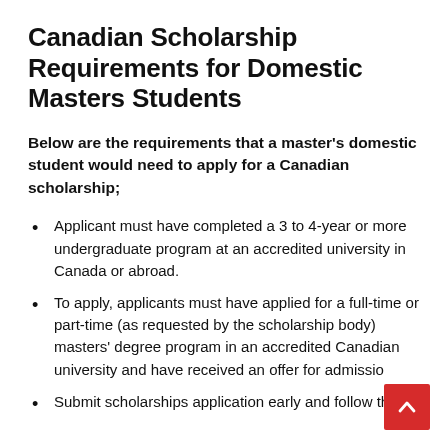Canadian Scholarship Requirements for Domestic Masters Students
Below are the requirements that a master's domestic student would need to apply for a Canadian scholarship;
Applicant must have completed a 3 to 4-year or more undergraduate program at an accredited university in Canada or abroad.
To apply, applicants must have applied for a full-time or part-time (as requested by the scholarship body) masters' degree program in an accredited Canadian university and have received an offer for admissio…
Submit scholarships application early and follow the…